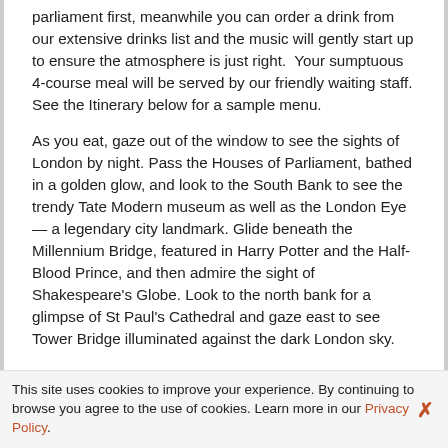parliament first, meanwhile you can order a drink from our extensive drinks list and the music will gently start up to ensure the atmosphere is just right.  Your sumptuous 4-course meal will be served by our friendly waiting staff. See the Itinerary below for a sample menu.
As you eat, gaze out of the window to see the sights of London by night. Pass the Houses of Parliament, bathed in a golden glow, and look to the South Bank to see the trendy Tate Modern museum as well as the London Eye — a legendary city landmark. Glide beneath the Millennium Bridge, featured in Harry Potter and the Half-Blood Prince, and then admire the sight of Shakespeare's Globe. Look to the north bank for a glimpse of St Paul's Cathedral and gaze east to see Tower Bridge illuminated against the dark London sky.
This site uses cookies to improve your experience. By continuing to browse you agree to the use of cookies. Learn more in our Privacy Policy.